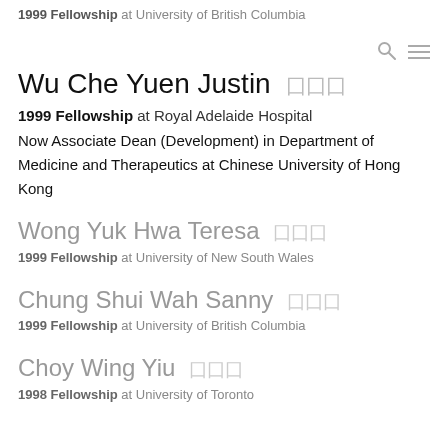1999 Fellowship at University of British Columbia
Wu Che Yuen Justin 鄔折源
1999 Fellowship at Royal Adelaide Hospital
Now Associate Dean (Development) in Department of Medicine and Therapeutics at Chinese University of Hong Kong
Wong Yuk Hwa Teresa 黃玉華
1999 Fellowship at University of New South Wales
Chung Shui Wah Sanny 鍾瑞華
1999 Fellowship at University of British Columbia
Choy Wing Yiu 蔡榮耀
1998 Fellowship at University of Toronto